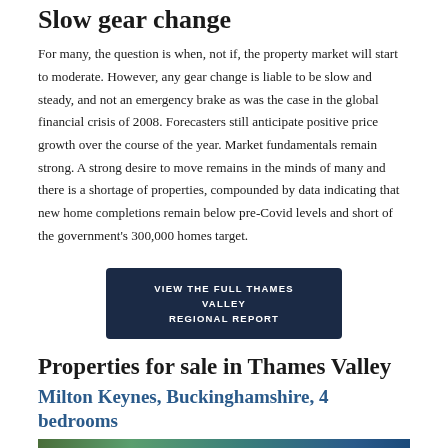Slow gear change
For many, the question is when, not if, the property market will start to moderate. However, any gear change is liable to be slow and steady, and not an emergency brake as was the case in the global financial crisis of 2008. Forecasters still anticipate positive price growth over the course of the year. Market fundamentals remain strong. A strong desire to move remains in the minds of many and there is a shortage of properties, compounded by data indicating that new home completions remain below pre-Covid levels and short of the government's 300,000 homes target.
[Figure (other): Dark navy button reading VIEW THE FULL THAMES VALLEY REGIONAL REPORT]
Properties for sale in Thames Valley
Milton Keynes, Buckinghamshire, 4 bedrooms
[Figure (photo): Partial property photo strip at bottom of page]